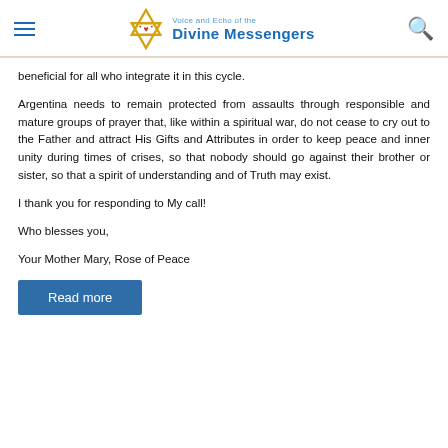Voice and Echo of the Divine Messengers
beneficial for all who integrate it in this cycle.
Argentina needs to remain protected from assaults through responsible and mature groups of prayer that, like within a spiritual war, do not cease to cry out to the Father and attract His Gifts and Attributes in order to keep peace and inner unity during times of crises, so that nobody should go against their brother or sister, so that a spirit of understanding and of Truth may exist.
I thank you for responding to My call!
Who blesses you,
Your Mother Mary, Rose of Peace
Read more